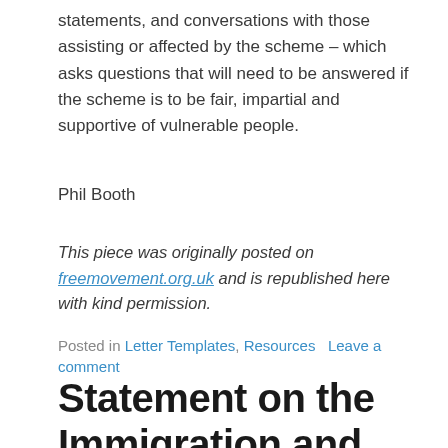statements, and conversations with those assisting or affected by the scheme – which asks questions that will need to be answered if the scheme is to be fair, impartial and supportive of vulnerable people.
Phil Booth
This piece was originally posted on freemovement.org.uk and is republished here with kind permission.
Posted in Letter Templates, Resources   Leave a comment
Statement on the Immigration and Social Security Co-ordination